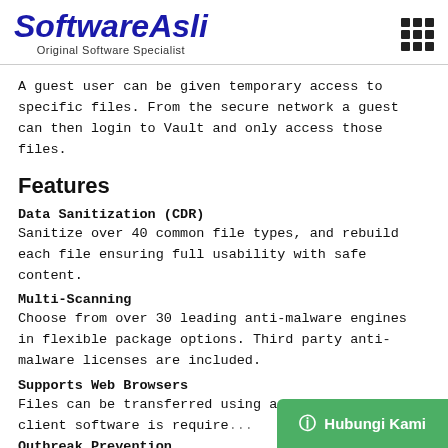SoftwareAsli — Original Software Specialist
A guest user can be given temporary access to specific files. From the secure network a guest can then login to Vault and only access those files.
Features
Data Sanitization (CDR)
Sanitize over 40 common file types, and rebuild each file ensuring full usability with safe content.
Multi-Scanning
Choose from over 30 leading anti-malware engines in flexible package options. Third party anti-malware licenses are included.
Supports Web Browsers
Files can be transferred using a w... special client software is require...
Outbreak Prevention